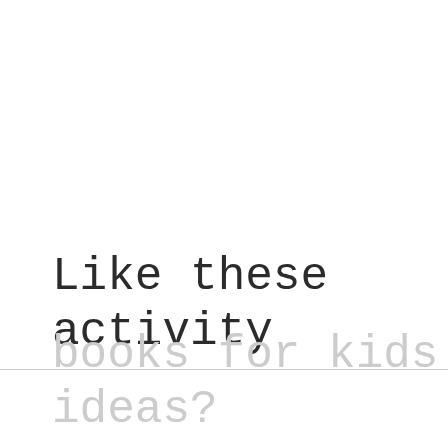Like these activity
books for kids ideas?